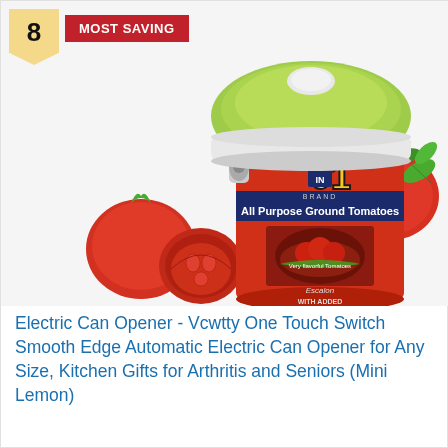[Figure (photo): Electric can opener (green/white, mushroom-shaped) placed on top of a red can of 6-in-1 All Purpose Ground Tomatoes, surrounded by fresh tomatoes and mint leaves on a white background.]
8
MOST SAVING
Electric Can Opener - Vcwtty One Touch Switch Smooth Edge Automatic Electric Can Opener for Any Size, Kitchen Gifts for Arthritis and Seniors (Mini Lemon)